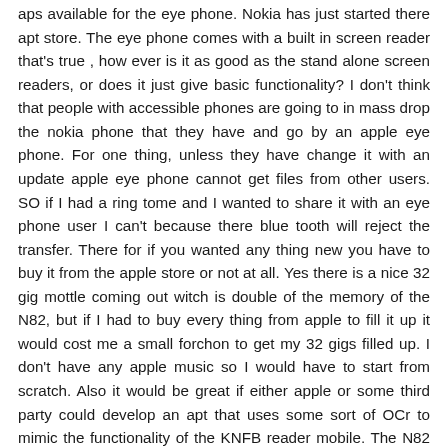aps available for the eye phone. Nokia has just started there apt store. The eye phone comes with a built in screen reader that's true , how ever is it as good as the stand alone screen readers, or does it just give basic functionality? I don't think that people with accessible phones are going to in mass drop the nokia phone that they have and go by an apple eye phone. For one thing, unless they have change it with an update apple eye phone cannot get files from other users. SO if I had a ring tome and I wanted to share it with an eye phone user I can't because there blue tooth will reject the transfer. There for if you wanted any thing new you have to buy it from the apple store or not at all. Yes there is a nice 32 gig mottle coming out witch is double of the memory of the N82, but if I had to buy every thing from apple to fill it up it would cost me a small forchon to get my 32 gigs filled up. I don't have any apple music so I would have to start from scratch. Also it would be great if either apple or some third party could develop an apt that uses some sort of OCr to mimic the functionality of the KNFB reader mobile. The N82 is also about 3 or 4 years old and when it came out it had and still does have the 5-megapixel camera. Why couldn't apple get